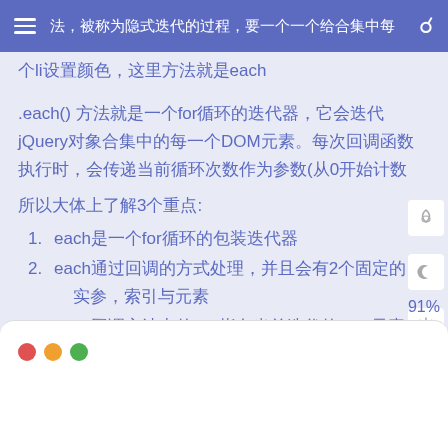法，被称为隐式迭代的过程，要一个一个给合集中每一个li设置颜色，这里方法就是each
.each() 方法就是一个for循环的迭代器，它会迭代jQuery对象合集中的每一个DOM元素。每次回调函数执行时，会传递当前循环次数作为参数(从0开始计数
所以大体上了解3个重点:
1. each是一个for循环的包装迭代器
2. each通过回调的方式处理，并且会有2个固定的实参，索引与元素
3. each回调方法中的this指向当前迭代的dom元素
看一个简单的案例
91%